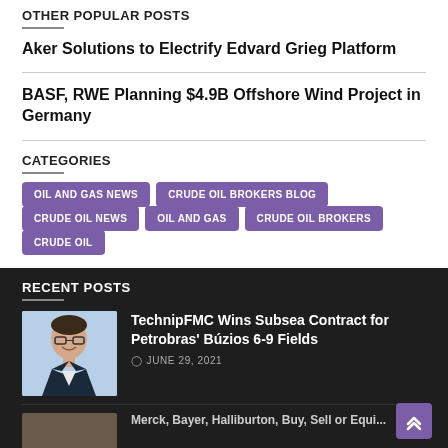OTHER POPULAR POSTS
Aker Solutions to Electrify Edvard Grieg Platform
BASF, RWE Planning $4.9B Offshore Wind Project in Germany
CATEGORIES
OIL AND GAS NEWS
CRUDE OIL BROKERS BLOG
CRUDE OIL NEWS
OIL AND GAS
CRUDE OIL BROKERS
CRUDE OIL
RECENT POSTS
[Figure (photo): Headshot of a man with glasses wearing a suit, light blue background]
TechnipFMC Wins Subsea Contract for Petrobras' Búzios 6-9 Fields
JUNE 29, 2021